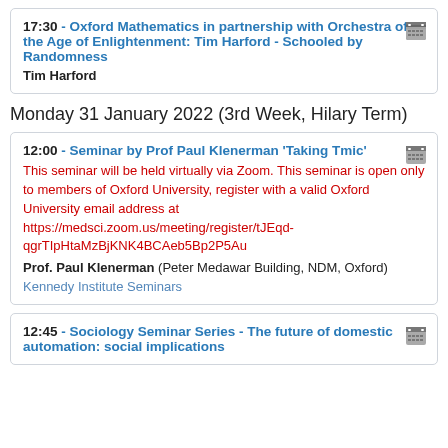17:30 - Oxford Mathematics in partnership with Orchestra of the Age of Enlightenment: Tim Harford - Schooled by Randomness
Tim Harford
Monday 31 January 2022 (3rd Week, Hilary Term)
12:00 - Seminar by Prof Paul Klenerman 'Taking Tmic'
This seminar will be held virtually via Zoom. This seminar is open only to members of Oxford University, register with a valid Oxford University email address at https://medsci.zoom.us/meeting/register/tJEqd-qgrTIpHtaMzBjKNK4BCAeb5Bp2P5Au
Prof. Paul Klenerman (Peter Medawar Building, NDM, Oxford)
Kennedy Institute Seminars
12:45 - Sociology Seminar Series - The future of domestic automation: social implications